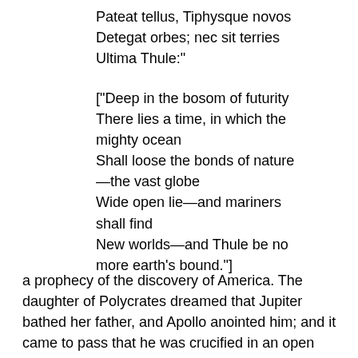Pateat tellus, Tiphysque novos
Detegat orbes; nec sit terries
Ultima Thule:"
["Deep in the bosom of futurity
There lies a time, in which the mighty ocean
Shall loose the bonds of nature—the vast globe
Wide open lie—and mariners shall find
New worlds—and Thule be no more earth's bound."]
a prophecy of the discovery of America. The daughter of Polycrates dreamed that Jupiter bathed her father, and Apollo anointed him; and it came to pass that he was crucified in an open place, where the